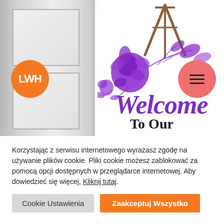[Figure (photo): Screenshot of a website with a welcome sign on an easel with purple floral decoration, showing 'Welcome To Our' text. Orange logo circle on left, pink hamburger menu circle on right. Door/interior background on left side.]
Korzystając z serwisu internetowego wyrażasz zgodę na używanie plików cookie. Pliki cookie możesz zablokować za pomocą opcji dostępnych w przeglądarce internetowej. Aby dowiedzieć się więcej, Kliknij tutaj.
Cookie Ustawienia
Zaakceptuj Wszystko